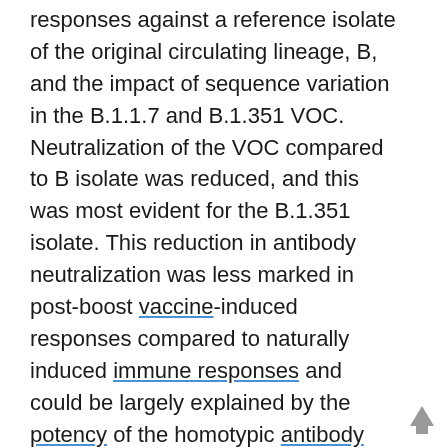responses against a reference isolate of the original circulating lineage, B, and the impact of sequence variation in the B.1.1.7 and B.1.351 VOC. Neutralization of the VOC compared to B isolate was reduced, and this was most evident for the B.1.351 isolate. This reduction in antibody neutralization was less marked in post-boost vaccine-induced responses compared to naturally induced immune responses and could be largely explained by the potency of the homotypic antibody response. After a single vaccination, which induced only modestly neutralizing homotypic antibody titres, neutralization against the VOC was completely abrogated in the majority of vaccinees. Importantly, high magnitude T cell responses were generated after two vaccine doses, with the majority of the T cell response directed against epitopes